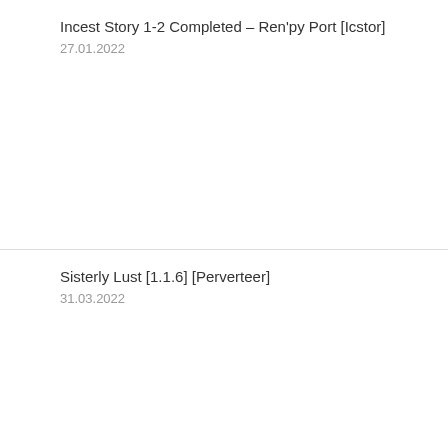Incest Story 1-2 Completed – Ren'py Port [Icstor]
27.01.2022
Sisterly Lust [1.1.6] [Perverteer]
31.03.2022